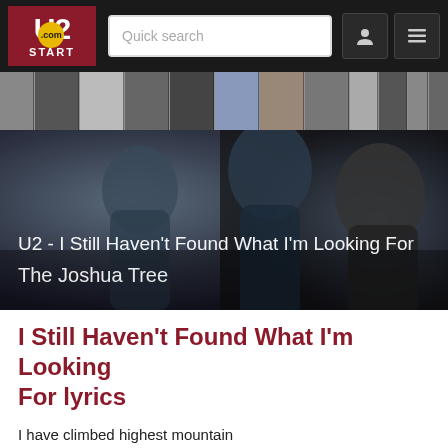U2.com START - Quick search navigation bar
[Figure (photo): Horizontal strip of U2 album covers as thumbnails]
[Figure (photo): Black and white hero banner photo of U2 band members with text overlay: U2 - I Still Haven't Found What I'm Looking For / The Joshua Tree]
I Still Haven't Found What I'm Looking For lyrics
I have climbed highest mountain
I have run through the fields
Only to be with you
Only to be with you
I have run